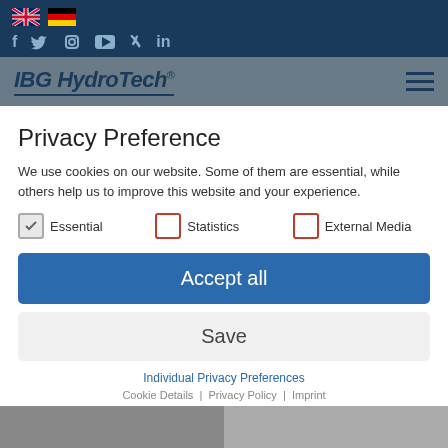[Figure (screenshot): Top navigation bar with UK and German flag icons, and social media icons (f, Twitter, Instagram, YouTube, Xing, LinkedIn) on dark blue background]
[Figure (logo): IBG HydroTech logo with italic bold text and registered trademark, hamburger menu icon on grey background]
Privacy Preference
We use cookies on our website. Some of them are essential, while others help us to improve this website and your experience.
Essential   Statistics   External Media
Accept all
Save
Individual Privacy Preferences
Cookie Details | Privacy Policy | Imprint